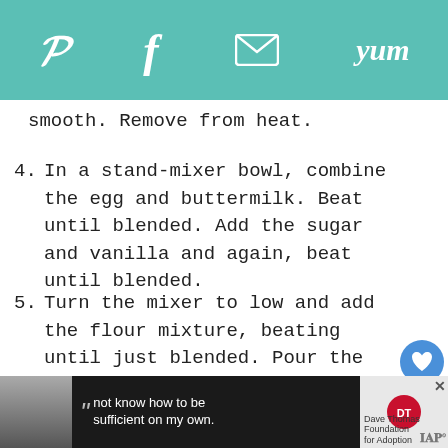Pinterest | Facebook | Email | Yum
smooth. Remove from heat.
4. In a stand-mixer bowl, combine the egg and buttermilk. Beat until blended. Add the sugar and vanilla and again, beat until blended.
5. Turn the mixer to low and add the flour mixture, beating until just blended. Pour the chocolate/butter mixture into the bowl and again beat until just blended. Pour the batter evenly between the two cake pans.
6. Bake for 25-27 minutes, switching the pans around on the rack halfway